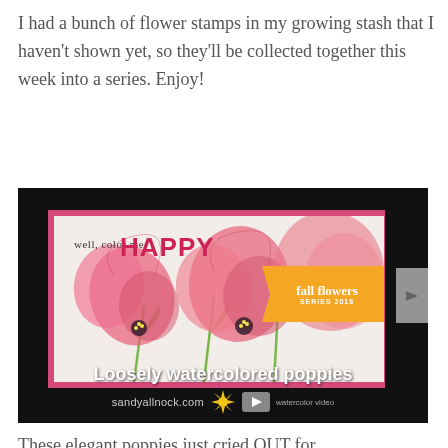I had a bunch of flower stamps in my growing stash that I haven't shown yet, so they'll be collected together this week into a series. Enjoy!
[Figure (photo): Video thumbnail showing a handmade greeting card with watercolored pink poppies and bold text 'well, color me HAPPY'. A yellow banner reads 'fall flowers SERIES 2018'. Below the card image: title 'Loosely watercolored poppies', URL 'sandyallnock.com', a daffodil icon, a YouTube play button, and 'watercolor video' label.]
These elegant poppies just cried OUT for